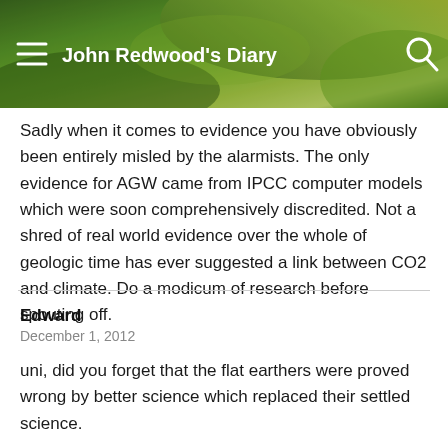John Redwood's Diary
Sadly when it comes to evidence you have obviously been entirely misled by the alarmists. The only evidence for AGW came from IPCC computer models which were soon comprehensively discredited. Not a shred of real world evidence over the whole of geologic time has ever suggested a link between CO2 and climate. Do a modicum of research before spouting off.
Edward
December 1, 2012
uni, did you forget that the flat earthers were proved wrong by better science which replaced their settled science.